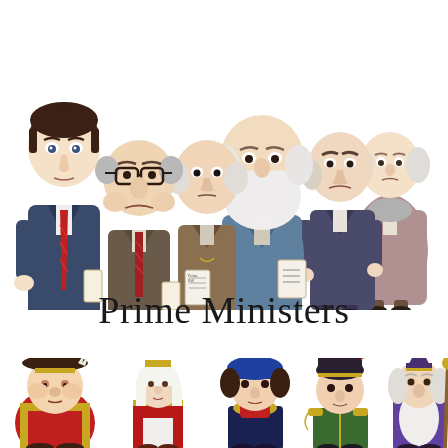[Figure (illustration): Caricature illustration of six Prime Ministers standing in a group, ranging from modern suited figures on the left to older Victorian-era figures on the right, all rendered in a stylized cartoon style with exaggerated facial features.]
Prime Ministers
[Figure (illustration): Partial caricature illustration of historical figures at the bottom of the page, including what appear to be Tudor and medieval era characters in period costumes, partially cropped.]